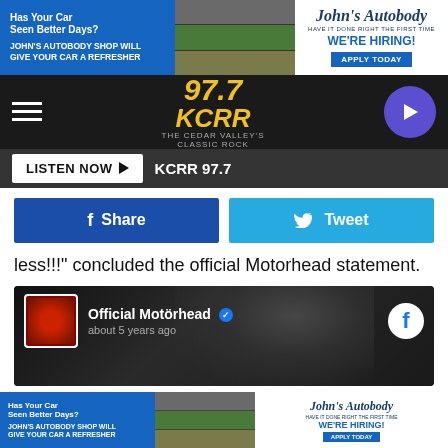[Figure (screenshot): Top advertisement banner for John's Autobody Shop with text 'Has Your Car Seen Better Days? JOHN'S AUTOBODY SHOP WILL GIVE YOUR CAR A REFRESHER' and 'WE'RE HIRING! APPLY TODAY']
[Figure (screenshot): KCRR 97.7 radio station navigation bar with hamburger menu, yellow KCRR logo, and purple play button]
[Figure (screenshot): Listen Now button and KCRR 97.7 station name bar]
[Figure (screenshot): Facebook Share and Twitter Tweet social sharing buttons]
less!!!" concluded the official Motorhead statement.
[Figure (screenshot): Official Motörhead Facebook page post embed showing page name with verified checkmark, 'about 5 years ago' timestamp, Facebook logo, and black and white photo of musician with long hair]
[Figure (screenshot): Bottom advertisement banner for John's Autobody Shop with text 'Has Your Car Seen Better Days? JOHN'S AUTOBODY SHOP WILL GIVE YOUR CAR A REFRESHER' and 'WE'RE HIRING! APPLY TODAY']